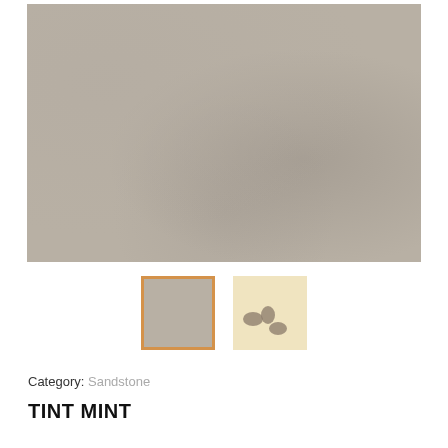[Figure (photo): Large main image showing a smooth gray-beige sandstone surface texture filling most of the upper portion of the page.]
[Figure (photo): Thumbnail 1: A gray-beige color swatch with an orange/amber border, selected state indicator.]
[Figure (photo): Thumbnail 2: A light cream/beige textured surface with dark oval stone-like spots scattered on it.]
Category: Sandstone
TINT MINT